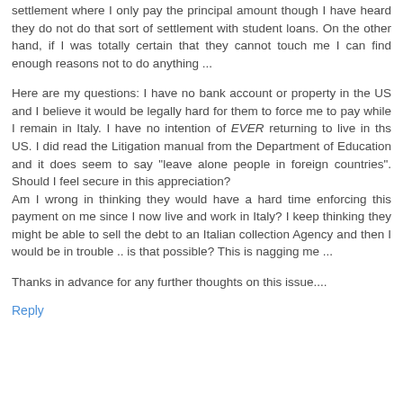settlement where I only pay the principal amount though I have heard they do not do that sort of settlement with student loans. On the other hand, if I was totally certain that they cannot touch me I can find enough reasons not to do anything ...
Here are my questions: I have no bank account or property in the US and I believe it would be legally hard for them to force me to pay while I remain in Italy. I have no intention of EVER returning to live in ths US. I did read the Litigation manual from the Department of Education and it does seem to say "leave alone people in foreign countries". Should I feel secure in this appreciation?
Am I wrong in thinking they would have a hard time enforcing this payment on me since I now live and work in Italy? I keep thinking they might be able to sell the debt to an Italian collection Agency and then I would be in trouble .. is that possible? This is nagging me ...
Thanks in advance for any further thoughts on this issue....
Reply